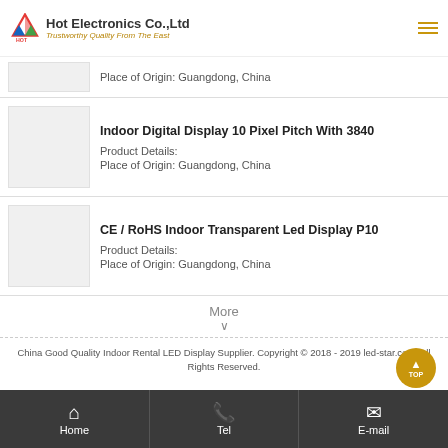Hot Electronics Co.,Ltd — Trustworthy Quality From The East
Place of Origin: Guangdong, China
Indoor Digital Display 10 Pixel Pitch With 3840
Product Details:
Place of Origin: Guangdong, China
CE / RoHS Indoor Transparent Led Display P10
Product Details:
Place of Origin: Guangdong, China
More
∨
China Good Quality Indoor Rental LED Display Supplier. Copyright © 2018 - 2019 led-star.com. All Rights Reserved.
Home  Tel  E-mail